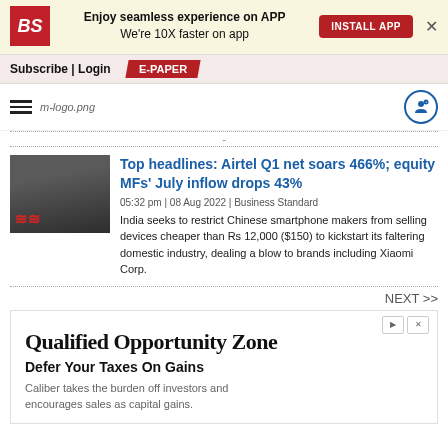[Figure (infographic): Business Standard app install banner with BS logo, text 'Enjoy seamless experience on APP We're 10X faster on app', INSTALL APP button, and X close button]
Subscribe | Login   E-PAPER
[Figure (logo): Hamburger menu icon, m-logo.png placeholder, and user/notification circle icon]
-
[Figure (photo): Photo of a dark building with a red Airtel logo]
Top headlines: Airtel Q1 net soars 466%; equity MFs' July inflow drops 43%
05:32 pm | 08 Aug 2022 | Business Standard
India seeks to restrict Chinese smartphone makers from selling devices cheaper than Rs 12,000 ($150) to kickstart its faltering domestic industry, dealing a blow to brands including Xiaomi Corp.
NEXT >>
[Figure (infographic): Advertisement block for Qualified Opportunity Zone - Defer Your Taxes On Gains. Caliber takes the burden off investors and encourages sales as capital gains.]